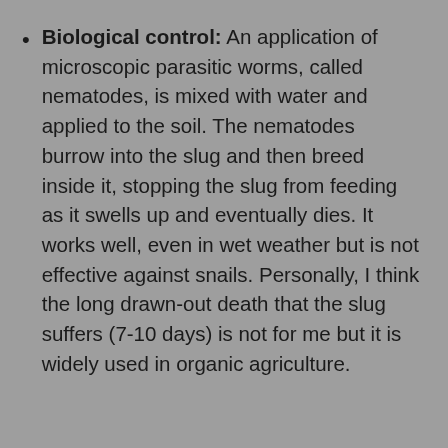Biological control: An application of microscopic parasitic worms, called nematodes, is mixed with water and applied to the soil. The nematodes burrow into the slug and then breed inside it, stopping the slug from feeding as it swells up and eventually dies. It works well, even in wet weather but is not effective against snails. Personally, I think the long drawn-out death that the slug suffers (7-10 days) is not for me but it is widely used in organic agriculture.